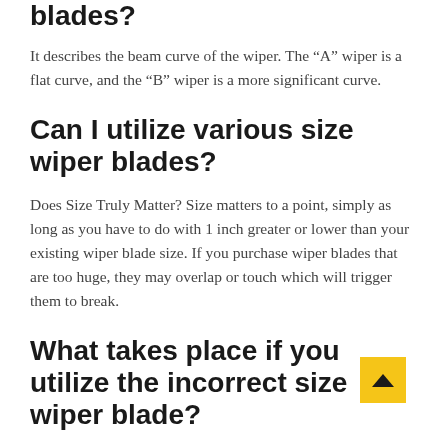blades?
It describes the beam curve of the wiper. The “A” wiper is a flat curve, and the “B” wiper is a more significant curve.
Can I utilize various size wiper blades?
Does Size Truly Matter? Size matters to a point, simply as long as you have to do with 1 inch greater or lower than your existing wiper blade size. If you purchase wiper blades that are too huge, they may overlap or touch which will trigger them to break.
What takes place if you utilize the incorrect size wiper blade?